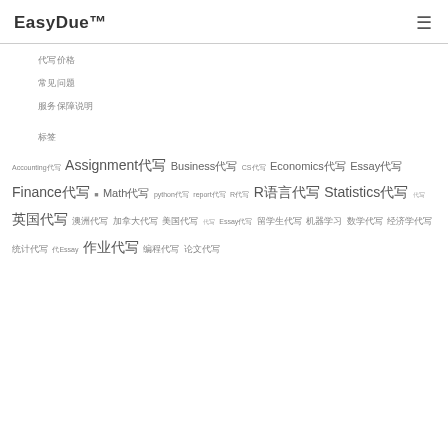EasyDue™
代写价格
常见问题
服务保障说明
标签
Accounting代写 Assignment代写 Business代写 CS代写 Economics代写 Essay代写 Finance代写 Math代写 python代写 report代写 R代写 R语言代写 Statistics代写 代写 英国代写 澳洲代写 加拿大代写 美国代写 代写Essay 留学生代写 机器学习 数学代写 经济学代写 统计代写 代Essay 作业代写 编程代写 论文代写